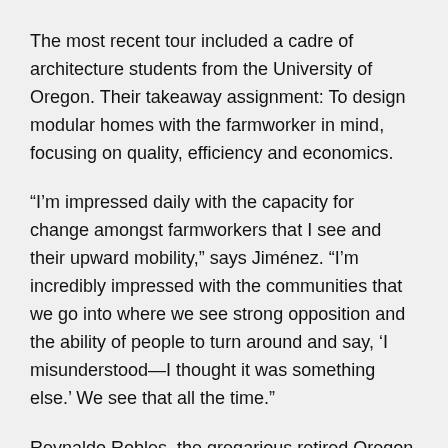The most recent tour included a cadre of architecture students from the University of Oregon. Their takeaway assignment: To design modular homes with the farmworker in mind, focusing on quality, efficiency and economics.
“I’m impressed daily with the capacity for change amongst farmworkers that I see and their upward mobility,” says Jiménez. “I’m incredibly impressed with the communities that we go into where we see strong opposition and the ability of people to turn around and say, ‘I misunderstood—I thought it was something else.’ We see that all the time.”
Reynaldo Robles, the gregarious retired Oregon farmworker, completes the story. The sleepless nights at labor camps may haunt his past, but as an eleven-year resident of Nuevo Amanecer, he’s found a place to call home.